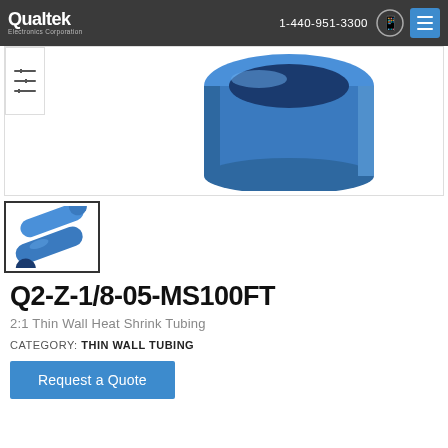Qualtek Electronics Corporation | 1-440-951-3300
[Figure (photo): Blue heat shrink tubing tube seen from above/front, angled view showing the cylindrical opening]
[Figure (photo): Thumbnail of two blue heat shrink tubing pieces laid flat diagonally]
Q2-Z-1/8-05-MS100FT
2:1 Thin Wall Heat Shrink Tubing
CATEGORY: THIN WALL TUBING
Request a Quote